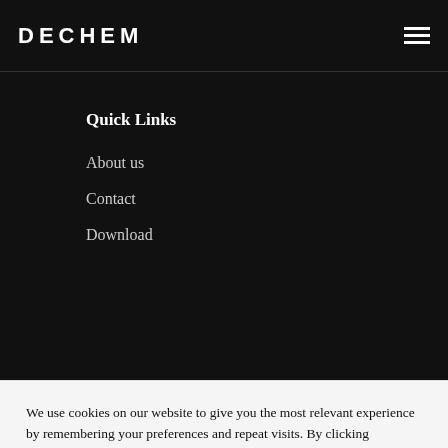DECHEM
Quick Links
About us
Contact
Download
We use cookies on our website to give you the most relevant experience by remembering your preferences and repeat visits. By clicking “Accept”, you consent to the use of ALL the cookies.
Cookie settings
ACCEPT